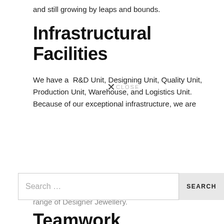and still growing by leaps and bounds.
Infrastructural Facilities
We have a R&D Unit, Designing Unit, Quality Unit, Production Unit, Warehouse, and Logistics Unit. Because of our exceptional infrastructure, we are
range of Designer Jewellery.
Teamwork
Out team of hardworking employees have been selected through a rigorous selection procedure. We conduct periodical sessions so that employees are in loop with the current trends. Our team consists of designers, quality controllers, administrative staff, warehousing personnel etc.
Warehouse